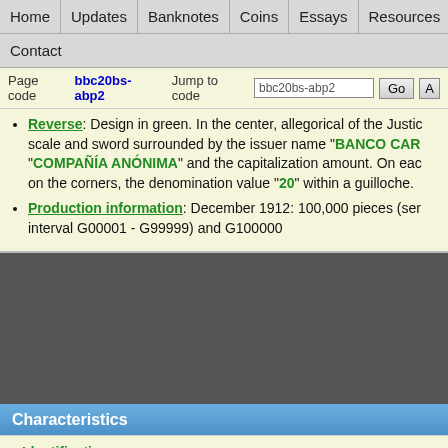Home | Updates | Banknotes | Coins | Essays | Resources | Sections | Contact
Page code bbc20bs-abp2  Jump to code bbc20bs-abp2  Go  A
Reverse: Design in green. In the center, allegorical of the Justice scale and sword surrounded by the issuer name "BANCO CAR... COMPAÑÍA ANÓNIMA" and the capitalization amount. On each on the corners, the denomination value "20" within a guilloche.
Production information: December 1912: 100,000 pieces (ser... interval G00001 - G99999) and G100000
Characteristics
Identification...